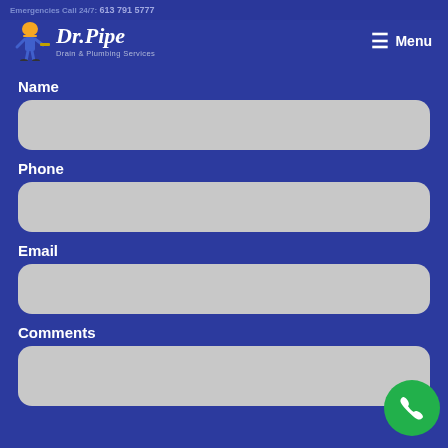Dr. Pipe Drain & Plumbing Services — Emergencies Call 24/7: 613 791 5777
Name
Phone
Email
Comments